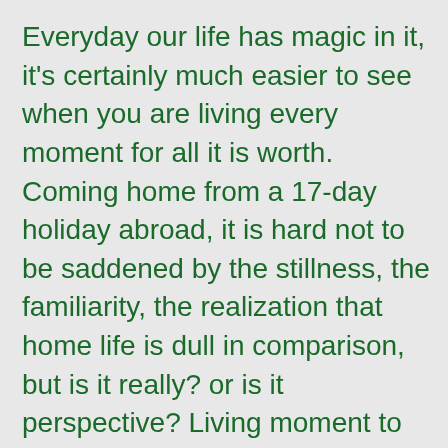Everyday our life has magic in it, it's certainly much easier to see when you are living every moment for all it is worth. Coming home from a 17-day holiday abroad, it is hard not to be saddened by the stillness, the familiarity, the realization that home life is dull in comparison, but is it really? or is it perspective? Living moment to moment is a way of life and can be the difference between a magical life or a complacent one no matter where or when you are.
To life and all of it's